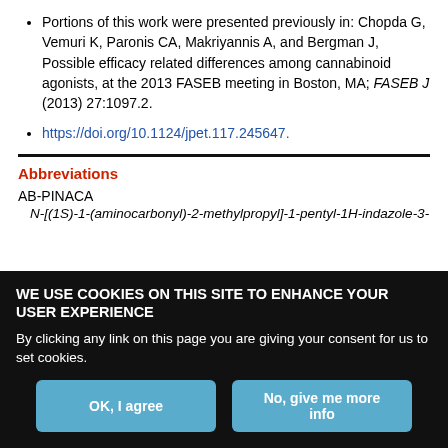Portions of this work were presented previously in: Chopda G, Vemuri K, Paronis CA, Makriyannis A, and Bergman J, Possible efficacy related differences among cannabinoid agonists, at the 2013 FASEB meeting in Boston, MA; FASEB J (2013) 27:1097.2.
https://doi.org/10.1124/jpet.117.245647.
Abbreviations
AB-PINACA
N-[(1S)-1-(aminocarbonyl)-2-methylpropyl]-1-pentyl-1H-indazole-3-
WE USE COOKIES ON THIS SITE TO ENHANCE YOUR USER EXPERIENCE
By clicking any link on this page you are giving your consent for us to set cookies.